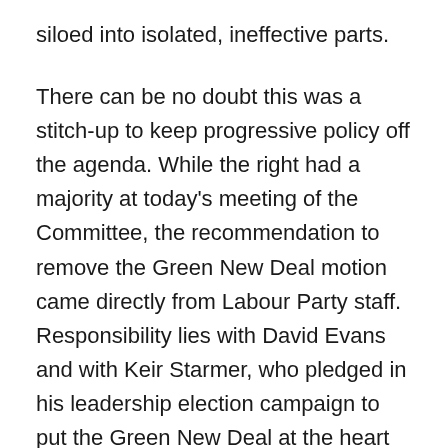siloed into isolated, ineffective parts.
There can be no doubt this was a stitch-up to keep progressive policy off the agenda. While the right had a majority at today's meeting of the Committee, the recommendation to remove the Green New Deal motion came directly from Labour Party staff. Responsibility lies with David Evans and with Keir Starmer, who pledged in his leadership election campaign to put the Green New Deal at the heart of everything we do.
It is now well known in the Labour Party that the pledges Starmer stood on are worthless, and it will soon be known to an entire generation of people who are looking